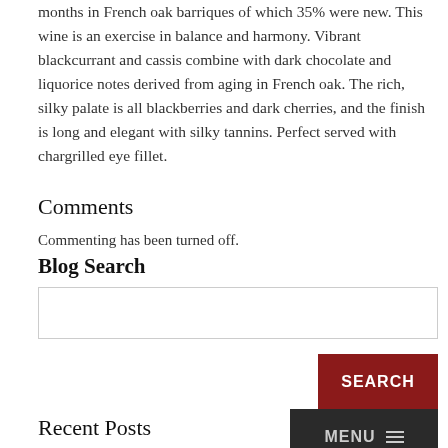months in French oak barriques of which 35% were new. This wine is an exercise in balance and harmony. Vibrant blackcurrant and cassis combine with dark chocolate and liquorice notes derived from aging in French oak. The rich, silky palate is all blackberries and dark cherries, and the finish is long and elegant with silky tannins. Perfect served with chargrilled eye fillet.
Comments
Commenting has been turned off.
Blog Search
Recent Posts